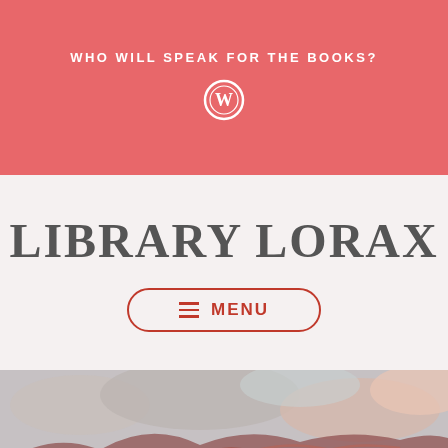WHO WILL SPEAK FOR THE BOOKS?
LIBRARY LORAX
≡ MENU
[Figure (photo): A landscape photograph of red rocky mountains with dramatic cloudy sky, vegetation in foreground, warm reddish tones throughout]